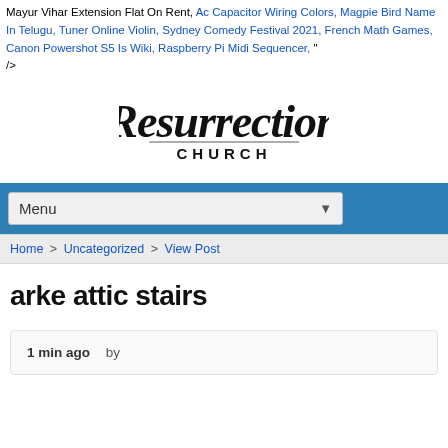Mayur Vihar Extension Flat On Rent, Ac Capacitor Wiring Colors, Magpie Bird Name In Telugu, Tuner Online Violin, Sydney Comedy Festival 2021, French Math Games, Canon Powershot S5 Is Wiki, Raspberry Pi Midi Sequencer, " />
[Figure (logo): Resurrection Church logo in black script/serif font]
Menu
Home > Uncategorized > View Post
arke attic stairs
1 min ago   by